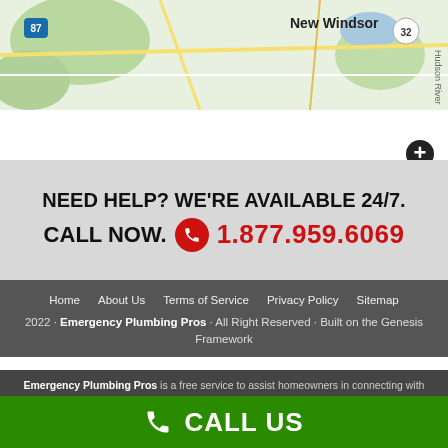[Figure (map): Google Maps view showing New Windsor area with highway 87 and 32 markers, greenery and roads visible]
NEED HELP? WE'RE AVAILABLE 24/7. CALL NOW. 1.877.959.6069
Home · About Us · Terms of Service · Privacy Policy · Sitemap
2022 · Emergency Plumbing Pros · All Right Reserved · Built on the Genesis Framework
Emergency Plumbing Pros is a free service to assist homeowners in connecting with local service contractors. All contractors are independent and Emergency
CALL US